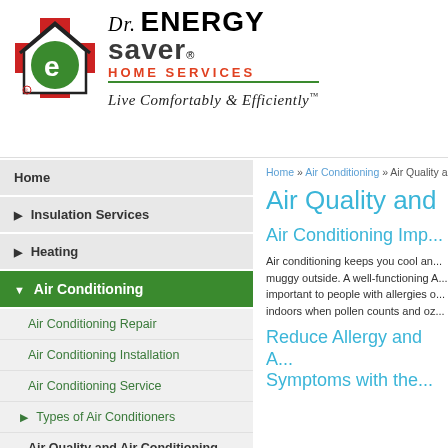[Figure (logo): Dr. Energy Saver Home Services logo with house icon containing green 'e', red cross, and text 'Dr. ENERGY saver HOME SERVICES' with tagline 'Live Comfortably & Efficiently']
Home
▶ Insulation Services
▶ Heating
▼ Air Conditioning
Air Conditioning Repair
Air Conditioning Installation
Air Conditioning Service
▶ Types of Air Conditioners
Air Quality and Air Conditioning
Home » Air Conditioning » Air Quality a...
Air Quality and
Air Conditioning Imp...
Air conditioning keeps you cool an... muggy outside. A well-functioning A... important to people with allergies o... indoors when pollen counts and oz...
Reduce Allergy and A... Symptoms with the...